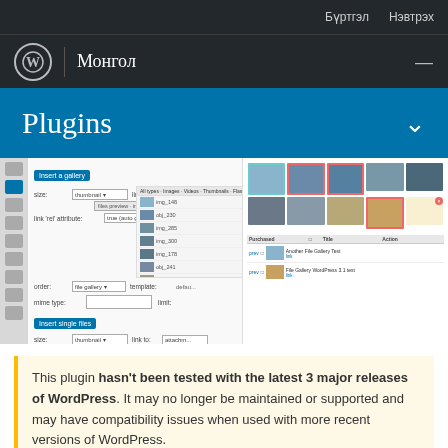Бүртгэл  Нэвтрэх
Монгол
Plugins
[Figure (screenshot): WordPress plugin admin UI screenshot showing 'Insert a gallery' interface with size/link-to dropdowns, gallery grid of photo thumbnails on the right]
This plugin hasn't been tested with the latest 3 major releases of WordPress. It may no longer be maintained or supported and may have compatibility issues when used with more recent versions of WordPress.